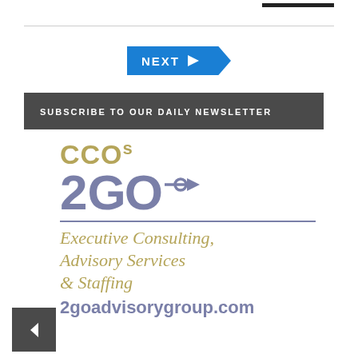[Figure (other): NEXT arrow button in blue]
SUBSCRIBE TO OUR DAILY NEWSLETTER
[Figure (logo): CCOs 2GO logo with tagline: Executive Consulting, Advisory Services & Staffing. Website: 2goadvisorygroup.com]